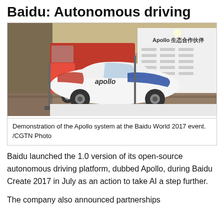Baidu: Autonomous driving
[Figure (photo): A white car with Apollo branding (blue and red stripes) on display at a booth. A red truck is visible in the background, along with a white banner reading 'Apollo' with Chinese characters and company logos. The venue is a hotel or conference center.]
Demonstration of the Apollo system at the Baidu World 2017 event. /CGTN Photo
Baidu launched the 1.0 version of its open-source autonomous driving platform, dubbed Apollo, during Baidu Create 2017 in July as an action to take AI a step further.
The company also announced partnerships